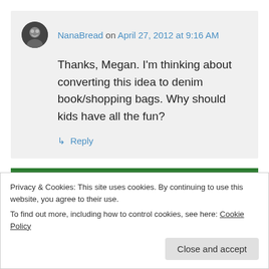NanaBread on April 27, 2012 at 9:16 AM
Thanks, Megan. I'm thinking about converting this idea to denim book/shopping bags. Why should kids have all the fun?
↳ Reply
[Figure (other): Green bar/button element partially visible]
Privacy & Cookies: This site uses cookies. By continuing to use this website, you agree to their use.
To find out more, including how to control cookies, see here: Cookie Policy
Close and accept